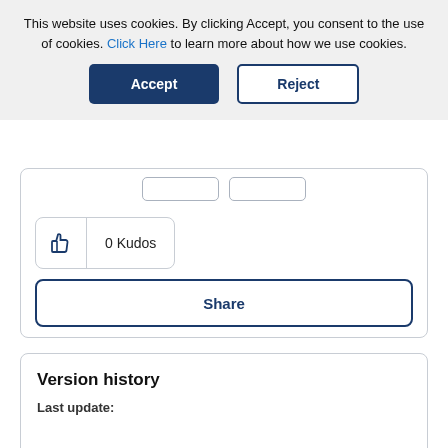This website uses cookies. By clicking Accept, you consent to the use of cookies. Click Here to learn more about how we use cookies.
0 Kudos
Share
Version history
Last update: